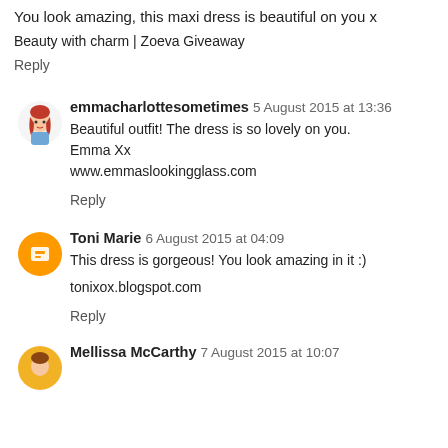You look amazing, this maxi dress is beautiful on you x
Beauty with charm | Zoeva Giveaway
Reply
emmacharlottesometimes  5 August 2015 at 13:36
Beautiful outfit! The dress is so lovely on you.
Emma Xx
www.emmaslookingglass.com
Reply
Toni Marie  6 August 2015 at 04:09
This dress is gorgeous! You look amazing in it :)
tonixox.blogspot.com
Reply
Mellissa McCarthy  7 August 2015 at 10:07